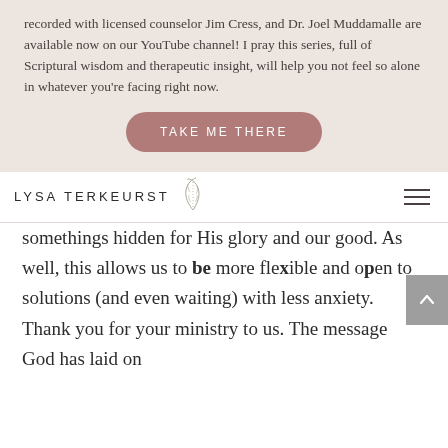recorded with licensed counselor Jim Cress, and Dr. Joel Muddamalle are available now on our YouTube channel! I pray this series, full of Scriptural wisdom and therapeutic insight, will help you not feel so alone in whatever you're facing right now.
TAKE ME THERE
[Figure (logo): Lysa TerKeurst logo with decorative leaf/branch illustration]
somethings hidden for His glory and our good. As well, this allows us to be more flexible and open to solutions (and even waiting) with less anxiety.
Thank you for your ministry to us. The message God has laid on